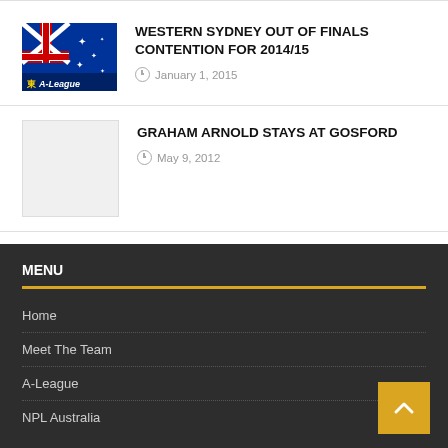[Figure (illustration): Australian flag thumbnail with 'A-League' label overlay]
WESTERN SYDNEY OUT OF FINALS CONTENTION FOR 2014/15
January 1, 2015
[Figure (illustration): Blank/placeholder grey thumbnail image]
GRAHAM ARNOLD STAYS AT GOSFORD
May 9, 2012
MENU
Home
Meet The Team
A-League
NPL Australia